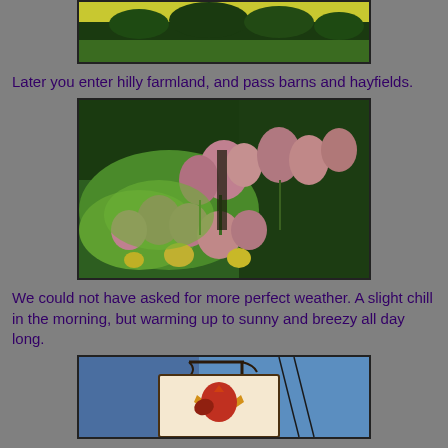[Figure (photo): Partial top photo showing green trees and yellow foliage, cropped at top of page]
Later you enter hilly farmland, and pass barns and hayfields.
[Figure (photo): Photo of pink wildflowers (Joe-Pye weed or similar) with green meadow and trees in background]
We could not have asked for more perfect weather. A slight chill in the morning, but warming up to sunny and breezy all day long.
[Figure (photo): Partial bottom photo showing a colorful painted sign with a rooster on a blue building against a blue sky, with utility wires]